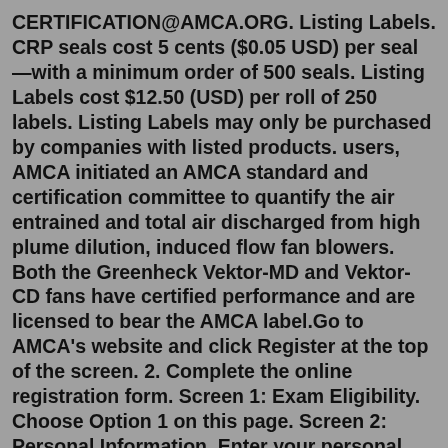CERTIFICATION@AMCA.ORG. Listing Labels. CRP seals cost 5 cents ($0.05 USD) per seal—with a minimum order of 500 seals. Listing Labels cost $12.50 (USD) per roll of 250 labels. Listing Labels may only be purchased by companies with listed products. users, AMCA initiated an AMCA standard and certification committee to quantify the air entrained and total air discharged from high plume dilution, induced flow fan blowers. Both the Greenheck Vektor-MD and Vektor-CD fans have certified performance and are licensed to bear the AMCA label.Go to AMCA's website and click Register at the top of the screen. 2. Complete the online registration form. Screen 1: Exam Eligibility. Choose Option 1 on this page. Screen 2: Personal Information. Enter your personal information in all of the required fields with * next to them (all fields). Screen 3: Picking Exam and Terms of Agreement.Issued by American Medical Certification Association. Nursing assistants, sometimes called